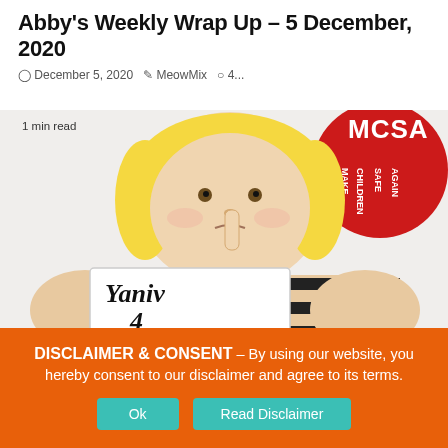Abby's Weekly Wrap Up – 5 December, 2020
December 5, 2020  MeowMix  4...
1 min read
[Figure (illustration): Cartoon illustration of a person with blonde hair wearing a black-and-white striped shirt, holding a sign that says 'Yaniv 4 Prison', with a red circle badge in the upper right reading 'MCSA MAKE CHILDREN SAFE AGAIN']
DISCLAIMER & CONSENT – By using our website, you hereby consent to our disclaimer and agree to its terms.
Ok  Read Disclaimer